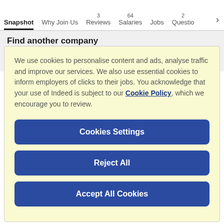Snapshot | Why Join Us | 3 Reviews | 64 Salaries | Jobs | 2 Questions
Find another company
Company name
We use cookies to personalise content and ads, analyse traffic and improve our services. We also use essential cookies to inform employers of clicks to their jobs. You acknowledge that your use of Indeed is subject to our Cookie Policy, which we encourage you to review.
Cookies Settings
Reject All
Accept All Cookies